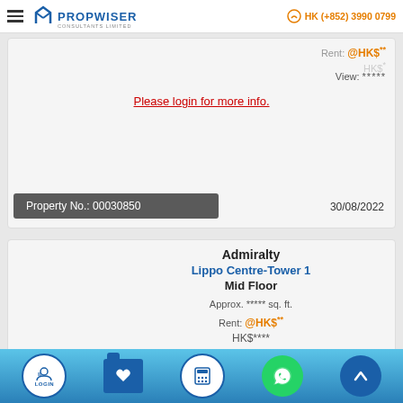Propwiser Consultants Limited | HK (+852) 3990 0799
Rent: @HK$** HK$**** View: *****
Please login for more info.
Property No.: 00030850    30/08/2022
Admiralty
Lippo Centre-Tower 1
Mid Floor
Approx. ***** sq. ft.
Rent: @HK$**
HK$****
View: *****